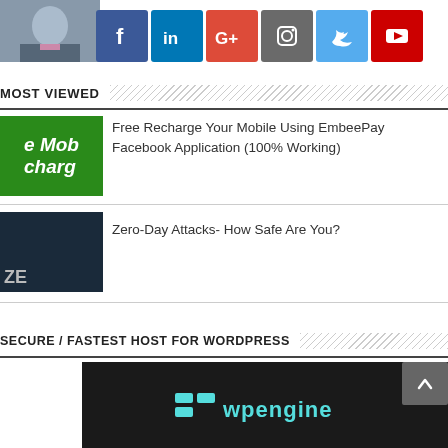[Figure (photo): Profile photo of a person in suit and tie]
[Figure (infographic): Social media icons row: Facebook, LinkedIn, Google+, Instagram, Twitter, YouTube]
MOST VIEWED
[Figure (photo): Thumbnail for EmbeePay article - green background with partial text 'e Mobile recharge']
Free Recharge Your Mobile Using EmbeePay Facebook Application (100% Working)
[Figure (photo): Thumbnail for Zero-Day Attacks article - dark hacker themed image with ZE text]
Zero-Day Attacks- How Safe Are You?
SECURE / FASTEST HOST FOR WORDPRESS
[Figure (logo): WP Engine logo banner on dark background]